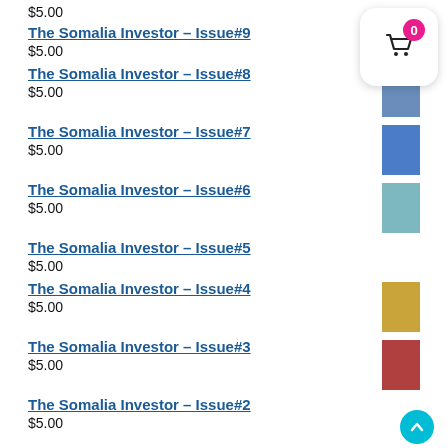$5.00
The Somalia Investor – Issue#9
$5.00
The Somalia Investor – Issue#8
$5.00
The Somalia Investor – Issue#7
$5.00
The Somalia Investor – Issue#6
$5.00
The Somalia Investor – Issue#5
$5.00
The Somalia Investor – Issue#4
$5.00
The Somalia Investor – Issue#3
$5.00
The Somalia Investor – Issue#2
$5.00